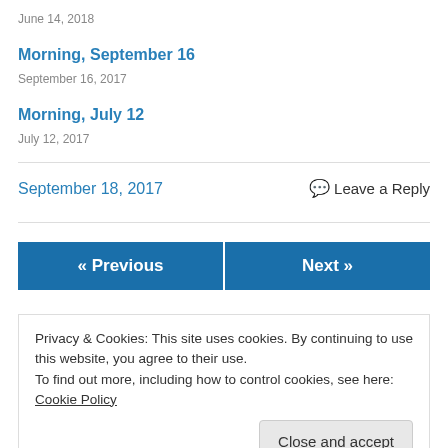June 14, 2018
Morning, September 16
September 16, 2017
Morning, July 12
July 12, 2017
September 18, 2017
💬 Leave a Reply
« Previous
Next »
Privacy & Cookies: This site uses cookies. By continuing to use this website, you agree to their use.
To find out more, including how to control cookies, see here: Cookie Policy
Close and accept